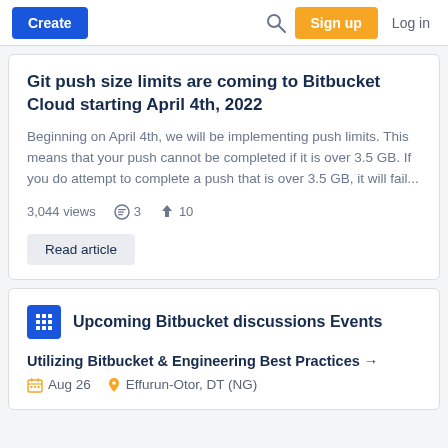Create   Search   Sign up   Log in
Git push size limits are coming to Bitbucket Cloud starting April 4th, 2022
Beginning on April 4th, we will be implementing push limits. This means that your push cannot be completed if it is over 3.5 GB. If you do attempt to complete a push that is over 3.5 GB, it will fail...
3,044 views   3   10
Read article
Upcoming Bitbucket discussions Events
Utilizing Bitbucket & Engineering Best Practices →
Aug 26   Effurun-Otor, DT (NG)